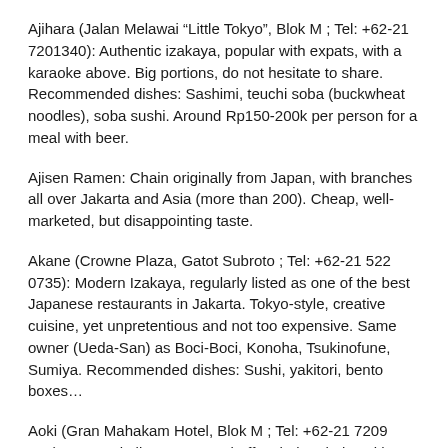Ajihara (Jalan Melawai “Little Tokyo”, Blok M ; Tel: +62-21 7201340): Authentic izakaya, popular with expats, with a karaoke above. Big portions, do not hesitate to share. Recommended dishes: Sashimi, teuchi soba (buckwheat noodles), soba sushi. Around Rp150-200k per person for a meal with beer.
Ajisen Ramen: Chain originally from Japan, with branches all over Jakarta and Asia (more than 200). Cheap, well-marketed, but disappointing taste.
Akane (Crowne Plaza, Gatot Subroto ; Tel: +62-21 522 0735): Modern Izakaya, regularly listed as one of the best Japanese restaurants in Jakarta. Tokyo-style, creative cuisine, yet unpretentious and not too expensive. Same owner (Ueda-San) as Boci-Boci, Konoha, Tsukinofune, Sumiya. Recommended dishes: Sushi, yakitori, bento boxes…
Aoki (Gran Mahakam Hotel, Blok M ; Tel: +62-21 7209 966): Reputed all-you-can-eat buffet shabu-shabu with grade 9 wagyu beef (Rp159++).
Asuka (Marriott Hotel, Mega Kuningan ; +62-21 5798 8898): Modern interior, with strictly authentic Japanese cuisine. Headed